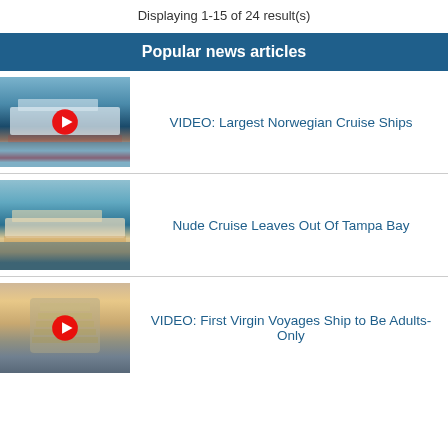Displaying 1-15 of 24 result(s)
Popular news articles
[Figure (photo): Norwegian cruise ship thumbnail with YouTube play button overlay]
VIDEO: Largest Norwegian Cruise Ships
[Figure (photo): Carnival cruise ship at sea thumbnail]
Nude Cruise Leaves Out Of Tampa Bay
[Figure (photo): Virgin Voyages ship bow with YouTube play button overlay]
VIDEO: First Virgin Voyages Ship to Be Adults-Only